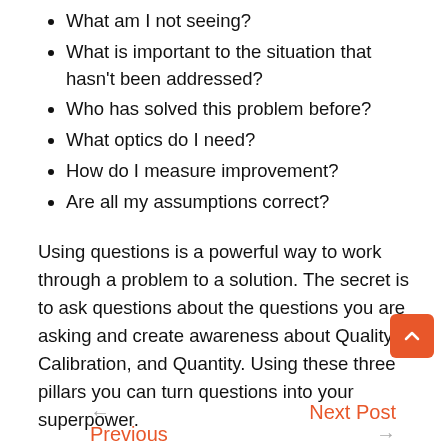What am I not seeing?
What is important to the situation that hasn't been addressed?
Who has solved this problem before?
What optics do I need?
How do I measure improvement?
Are all my assumptions correct?
Using questions is a powerful way to work through a problem to a solution. The secret is to ask questions about the questions you are asking and create awareness about Quality, Calibration, and Quantity. Using these three pillars you can turn questions into your superpower.
← Next Post Previous →